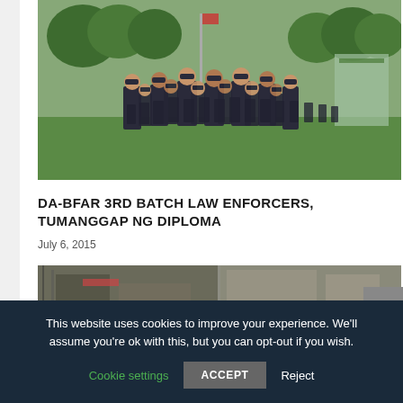[Figure (photo): A large group of law enforcement officers in dark uniforms marching in formation on a grassy field with trees in the background.]
DA-BFAR 3RD BATCH LAW ENFORCERS, TUMANGGAP NG DIPLOMA
July 6, 2015
[Figure (photo): Partial view of a second article image showing what appears to be a crowded street scene.]
This website uses cookies to improve your experience. We'll assume you're ok with this, but you can opt-out if you wish.